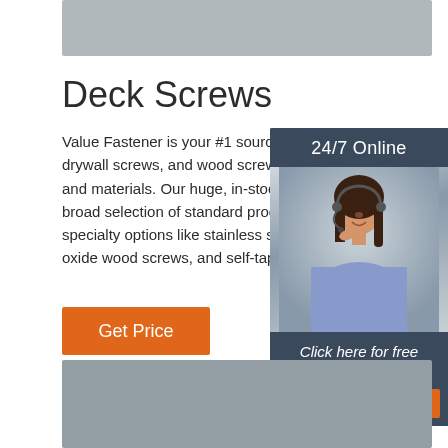[Figure (photo): Gray placeholder image at the top of the page]
Deck Screws
Value Fastener is your #1 source for deck screws, drywall screws, and wood screws in all sizes and materials. Our huge, in-stock inventory includes a broad selection of standard products, as well as specialty options like stainless steel screws, black oxide wood screws, and self-tapping drywall screws.
[Figure (infographic): Sidebar advertisement with dark navy background showing '24/7 Online' header, photo of woman with headset, and 'Click here for free chat!' text with orange QUOTATION button]
[Figure (photo): Gray placeholder image at the bottom of the page]